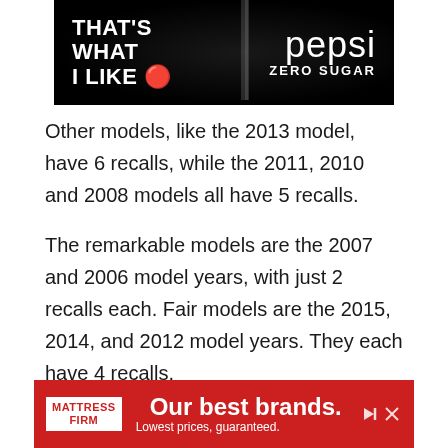[Figure (photo): Pepsi Zero Sugar advertisement with black background showing Pepsi cans with bubbles. Text reads 'THAT'S WHAT I LIKE' on the left and 'pepsi ZERO SUGAR' logo on the right.]
Other models, like the 2013 model, have 6 recalls, while the 2011, 2010 and 2008 models all have 5 recalls.
The remarkable models are the 2007 and 2006 model years, with just 2 recalls each. Fair models are the 2015, 2014, and 2012 model years. They each have 4 recalls.
The problems responsible for most of the recalls include:
[Figure (photo): Mattress Firm advertisement. Red background with Mattress Firm logo and text reading 'Our best brands. Lowest prices, guaranteed.']